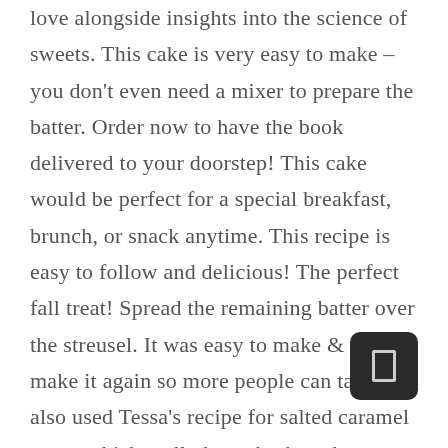love alongside insights into the science of sweets. This cake is very easy to make – you don't even need a mixer to prepare the batter. Order now to have the book delivered to your doorstep! This cake would be perfect for a special breakfast, brunch, or snack anytime. This recipe is easy to follow and delicious! The perfect fall treat! Spread the remaining batter over the streusel. It was easy to make & want to make it again so more people can taste it. I also used Tessa's recipe for salted caramel sauce which really brought the cake together. [...] The perfect fall treat, especially with a cup of coffee or tea!! A fun and easy recipe to put together. Absolutely delicious! the recipe was easy to follow and prep time was quick. It was sweet but not too sweet.